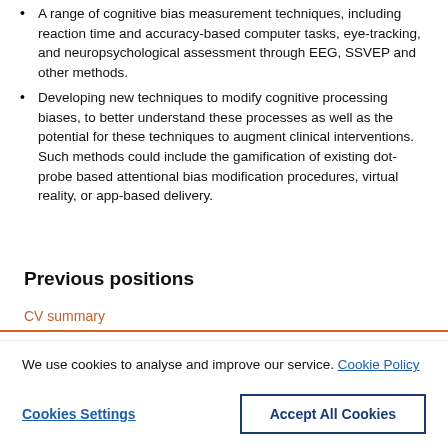A range of cognitive bias measurement techniques, including reaction time and accuracy-based computer tasks, eye-tracking, and neuropsychological assessment through EEG, SSVEP and other methods.
Developing new techniques to modify cognitive processing biases, to better understand these processes as well as the potential for these techniques to augment clinical interventions. Such methods could include the gamification of existing dot-probe based attentional bias modification procedures, virtual reality, or app-based delivery.
Previous positions
CV summary
We use cookies to analyse and improve our service. Cookie Policy
Cookies Settings
Accept All Cookies